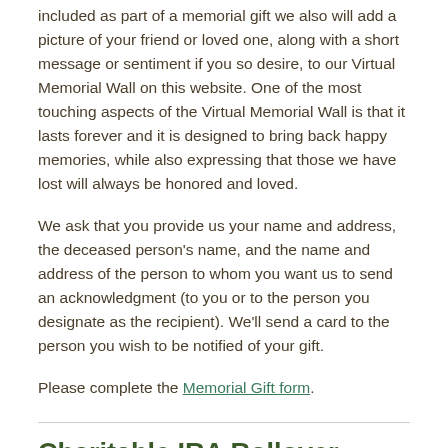included as part of a memorial gift we also will add a picture of your friend or loved one, along with a short message or sentiment if you so desire, to our Virtual Memorial Wall on this website. One of the most touching aspects of the Virtual Memorial Wall is that it lasts forever and it is designed to bring back happy memories, while also expressing that those we have lost will always be honored and loved.
We ask that you provide us your name and address, the deceased person's name, and the name and address of the person to whom you want us to send an acknowledgment (to you or to the person you designate as the recipient). We'll send a card to the person you wish to be notified of your gift.
Please complete the Memorial Gift form.
Charitable IRA Rollover